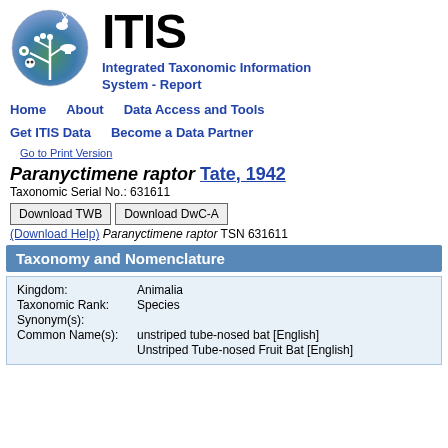[Figure (logo): ITIS circular logo with deer, flowers, mushroom and plant silhouettes on blue-green gradient background]
ITIS
Integrated Taxonomic Information System - Report
Home   About   Data Access and Tools
Get ITIS Data   Become a Data Partner
Go to Print Version
Paranyctimene raptor Tate, 1942
Taxonomic Serial No.: 631611
Download TWB   Download DwC-A
(Download Help) Paranyctimene raptor TSN 631611
Taxonomy and Nomenclature
| Kingdom: | Animalia |
| Taxonomic Rank: | Species |
| Synonym(s): |  |
| Common Name(s): | unstriped tube-nosed bat [English] |
|  | Unstriped Tube-nosed Fruit Bat [English] |